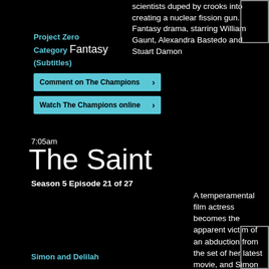scientists duped by crooks into creating a nuclear fission gun. Fantasy drama, starring William Gaunt, Alexandra Bastedo and Stuart Damon
Project Zero
Category  Fantasy
(Subtitles)
Comment on The Champions  >
Watch The Champions online  >
7:05am
The Saint
Season 5 Episode 21 of 27
A temperamental film actress becomes the apparent victim of an abduction from the set of her latest movie, and Simon must find out whether her disappearance is a publicity stunt or something altogether more sinister. Roger Moore stars
Simon and Delilah